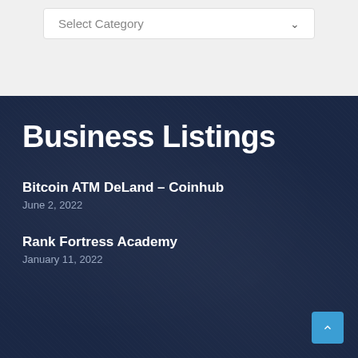[Figure (screenshot): A dropdown UI element with label 'Select Category' and a chevron arrow, inside a white card on a light gray background]
Business Listings
Bitcoin ATM DeLand – Coinhub
June 2, 2022
Rank Fortress Academy
January 11, 2022